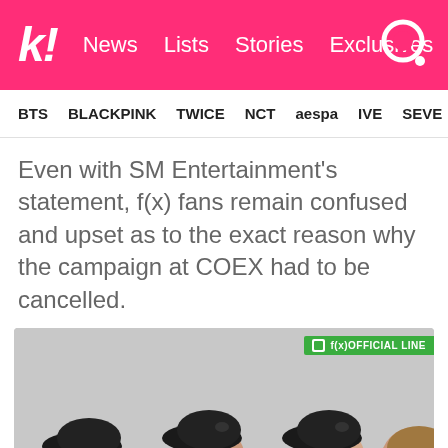k! News Lists Stories Exclusives
BTS BLACKPINK TWICE NCT aespa IVE SEVE
Even with SM Entertainment's statement, f(x) fans remain confused and upset as to the exact reason why the campaign at COEX had to be cancelled.
[Figure (photo): Photo of f(x) members wearing black berets against a light gray background, with a green 'f(x) OFFICIAL LINE' badge in the top right corner]